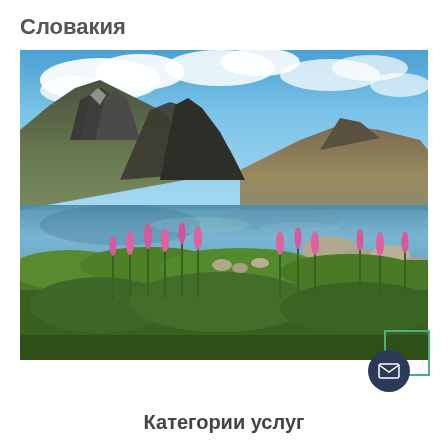Словакия
[Figure (photo): Scenic mountain landscape in Slovakia with a clear alpine lake, pink wildflowers in the foreground, rocky peaks, and blue sky with clouds]
[Figure (other): UI widget: green square border with a dark navy circular email/envelope button overlapping bottom-left corner]
Категории услуг